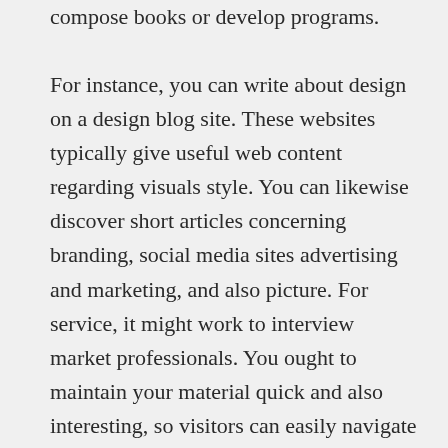compose books or develop programs.
For instance, you can write about design on a design blog site. These websites typically give useful web content regarding visuals style. You can likewise discover short articles concerning branding, social media sites advertising and marketing, and also picture. For service, it might work to interview market professionals. You ought to maintain your material quick and also interesting, so visitors can easily navigate with your material. The style of your blog site will certainly also identify the sort of web content you will certainly create as well as just how it will be shared. If you have an interest in